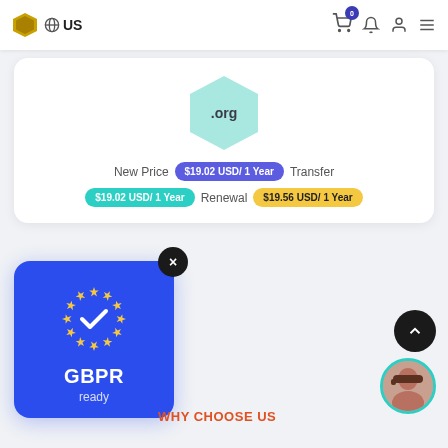US
[Figure (screenshot): Domain .org pricing card showing New Price $19.02 USD/1 Year, Transfer $19.02 USD/1 Year, Renewal $19.56 USD/1 Year]
[Figure (illustration): GBPR ready card with EU stars circle and checkmark on blue background, with X close button]
WHY CHOOSE US